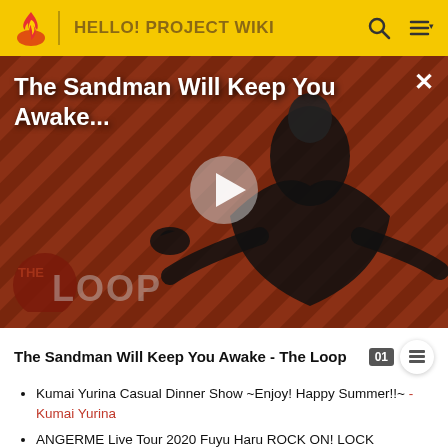HELLO! PROJECT WIKI
[Figure (screenshot): Video thumbnail for 'The Sandman Will Keep You Awake...' showing a figure in black against a diagonal striped red-brown background with THE LOOP logo overlay and a play button in the center.]
The Sandman Will Keep You Awake - The Loop
Kumai Yurina Casual Dinner Show ~Enjoy! Happy Summer!!~ - Kumai Yurina
ANGERME Live Tour 2020 Fuyu Haru ROCK ON! LOCK